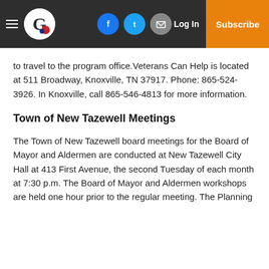CP Logo | Facebook | Twitter | Email | Log In | Subscribe
to travel to the program office.Veterans Can Help is located at 511 Broadway, Knoxville, TN 37917. Phone: 865-524-3926. In Knoxville, call 865-546-4813 for more information.
Town of New Tazewell Meetings
The Town of New Tazewell board meetings for the Board of Mayor and Aldermen are conducted at New Tazewell City Hall at 413 First Avenue, the second Tuesday of each month at 7:30 p.m. The Board of Mayor and Aldermen workshops are held one hour prior to the regular meeting. The Planning